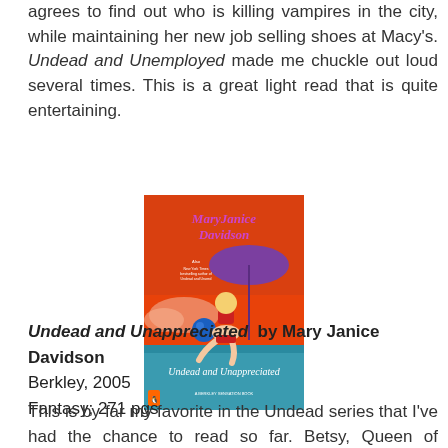agrees to find out who is killing vampires in the city, while maintaining her new job selling shoes at Macy's. Undead and Unemployed made me chuckle out loud several times. This is a great light read that is quite entertaining.
[Figure (photo): Book cover of 'Undead and Unappreciated' by MaryJanice Davidson. Features a cartoon woman in a red bikini sitting by a poolside under a purple umbrella, with a blue ball, on an orange/red background.]
Undead and Unappreciated by Mary Janice Davidson
Berkley, 2005
Fantasy; 271 pgs
This is by far my favorite in the Undead series that I've had the chance to read so far. Betsy, Queen of Vampires, seems